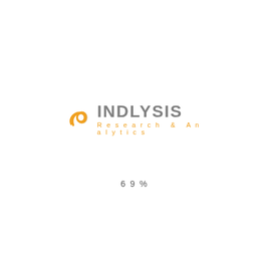[Figure (logo): Indlysis Research & Analytics logo with orange circular wave icon and grey INDLYSIS text with orange 'Research & Analytics' tagline]
69%